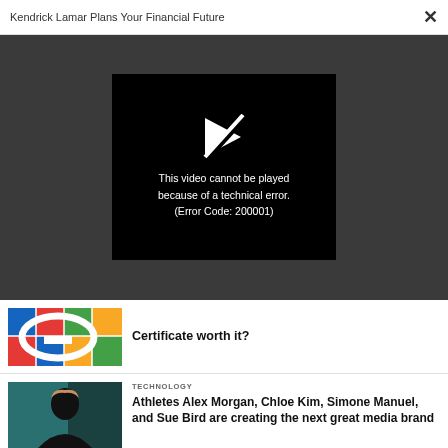Kendrick Lamar Plans Your Financial Future ×
[Figure (screenshot): Video player showing error: 'This video cannot be played because of a technical error. (Error Code: 200001)']
Certificate worth it?
TECHNOLOGY
Athletes Alex Morgan, Chloe Kim, Simone Manuel, and Sue Bird are creating the next great media brand